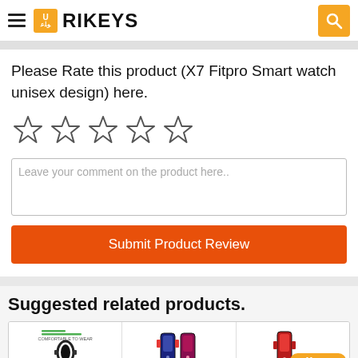RIKEYS
Please Rate this product (X7 Fitpro Smart watch unisex design) here.
[Figure (other): Five empty star rating icons]
Leave your comment on the product here..
Submit Product Review
Suggested related products.
[Figure (photo): Product thumbnails row showing fitness bands/smart watches]